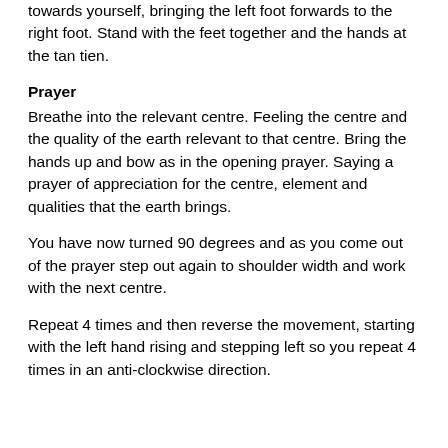towards yourself, bringing the left foot forwards to the right foot. Stand with the feet together and the hands at the tan tien.
Prayer
Breathe into the relevant centre. Feeling the centre and the quality of the earth relevant to that centre. Bring the hands up and bow as in the opening prayer. Saying a prayer of appreciation for the centre, element and qualities that the earth brings.
You have now turned 90 degrees and as you come out of the prayer step out again to shoulder width and work with the next centre.
Repeat 4 times and then reverse the movement, starting with the left hand rising and stepping left so you repeat 4 times in an anti-clockwise direction.